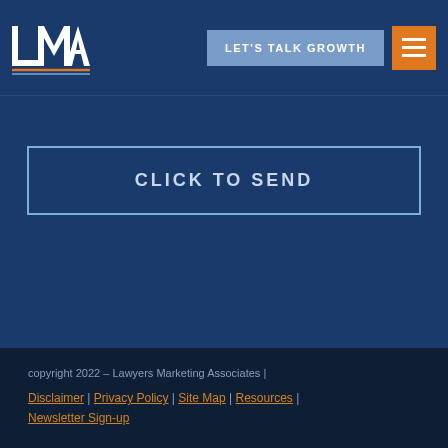LMA logo | LET'S TALK GROWTH | hamburger menu
CLICK TO SEND
copyright 2022 - Lawyers Marketing Associates | Disclaimer | Privacy Policy | Site Map | Resources | Newsletter Sign-up